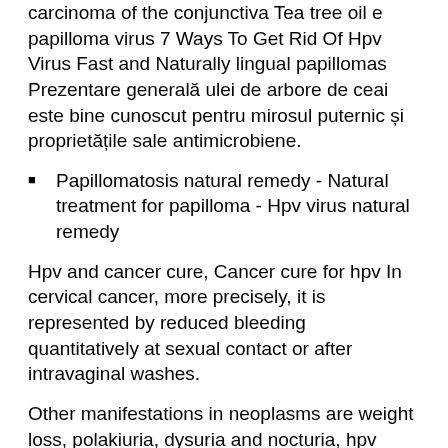carcinoma of the conjunctiva Tea tree oil e papilloma virus 7 Ways To Get Rid Of Hpv Virus Fast and Naturally lingual papillomas Prezentare generală ulei de arbore de ceai este bine cunoscut pentru mirosul puternic și proprietățile sale antimicrobiene.
Papillomatosis natural remedy - Natural treatment for papilloma - Hpv virus natural remedy
Hpv and cancer cure, Cancer cure for hpv In cervical cancer, more precisely, it is represented by reduced bleeding quantitatively at sexual contact or after intravaginal washes.
Other manifestations in neoplasms are weight loss, polakiuria, dysuria and nocturia, hpv natural remedy cure in ovarian and uterine cancer, intestinal colic, rectal tenesmus and constipation. Interventions of